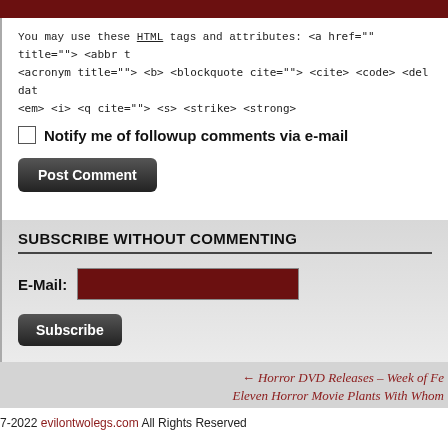[Figure (other): Dark red/maroon horizontal bar at top of page]
You may use these HTML tags and attributes: <a href="" title=""> <abbr t <acronym title=""> <b> <blockquote cite=""> <cite> <code> <del dat <em> <i> <q cite=""> <s> <strike> <strong>
Notify me of followup comments via e-mail
Post Comment
SUBSCRIBE WITHOUT COMMENTING
E-Mail:
Subscribe
← Horror DVD Releases – Week of Fe
Eleven Horror Movie Plants With Whom
7-2022 evilontwolegs.com All Rights Reserved